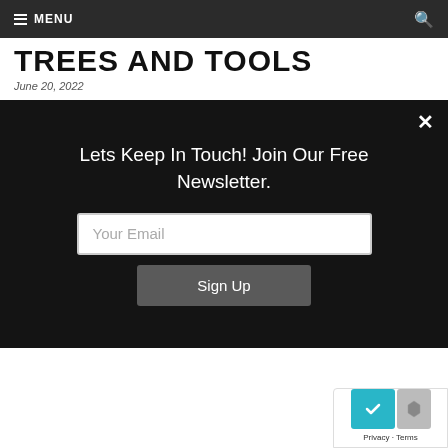MENU
TREES AND TOOLS
June 20, 2022
Lets Keep In Touch! Join Our Free Newsletter.
Your Email
Sign Up
[Figure (other): Privacy and Terms reCAPTCHA badge with teal and gray icons]